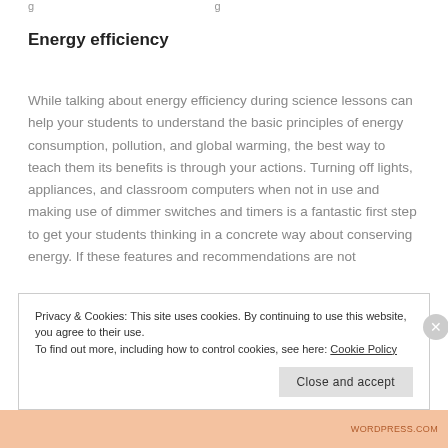g ...
Energy efficiency
While talking about energy efficiency during science lessons can help your students to understand the basic principles of energy consumption, pollution, and global warming, the best way to teach them its benefits is through your actions. Turning off lights, appliances, and classroom computers when not in use and making use of dimmer switches and timers is a fantastic first step to get your students thinking in a concrete way about conserving energy. If these features and recommendations are not
Privacy & Cookies: This site uses cookies. By continuing to use this website, you agree to their use.
To find out more, including how to control cookies, see here: Cookie Policy
[Close and accept]